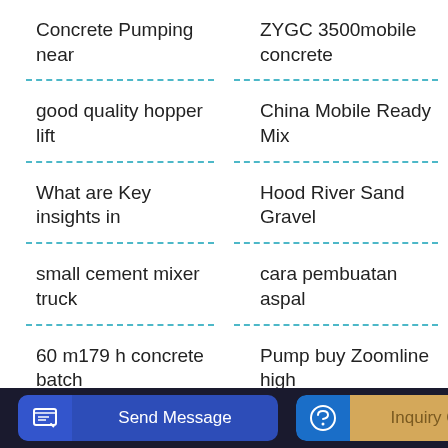Concrete Pumping near
ZYGC 3500mobile concrete
good quality hopper lift
China Mobile Ready Mix
What are Key insights in
Hood River Sand Gravel
small cement mixer truck
cara pembuatan aspal
60 m179 h concrete batch
Pump buy Zoomline high
[Figure (other): Send Message button with icon]
[Figure (other): Inquiry Online button with icon]